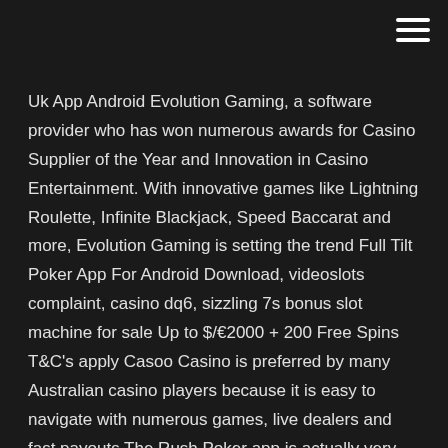[Figure (other): Hamburger menu icon (three horizontal white lines) in top-right corner]
Uk App Android Evolution Gaming, a software provider who has won numerous awards for Casino Supplier of the Year and Innovation in Casino Entertainment. With innovative games like Lightning Roulette, Infinite Blackjack, Speed Baccarat and more, Evolution Gaming is setting the trend Full Tilt Poker App For Android Download, videoslots complaint, casino dq6, sizzling 7s bonus slot machine for sale Up to $/€2000 + 200 Free Spins T&C's apply Casoo Casino is preferred by many Australian casino players because it is easy to navigate with numerous games, live dealers and fast payouts The Rush Poker app is actually very similar to the software client of Full Tilt Poker. With a Wi-Fi connection, 3G, or 4G network, you can connect your Android mobile phone to the Full Tilt Poker servers and play